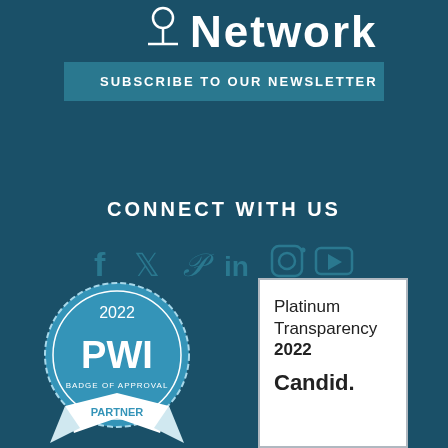Network
SUBSCRIBE TO OUR NEWSLETTER
CONNECT WITH US
[Figure (illustration): Social media icons: Facebook, Twitter, Pinterest, LinkedIn, Instagram, YouTube]
[Figure (illustration): 2022 PWI Badge of Approval Partner circular badge in blue and white]
[Figure (illustration): Platinum Transparency 2022 Candid. badge in white rectangle with grey border]